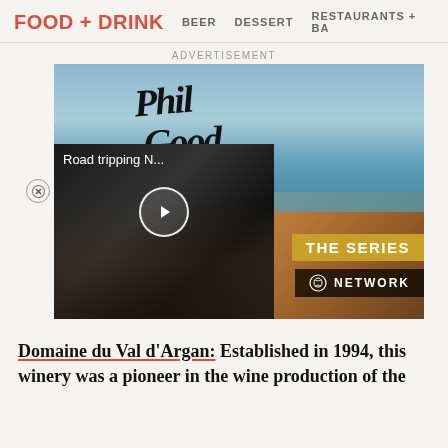FOOD + DRINK   BEER   DESSERT   RESTAURANTS + BA
ADVERTISEMENT
[Figure (photo): Advertisement for Phil Good Travel series showing coastal city panorama and a video overlay with 'Road tripping N...' title with play button, plus THE SERIES and NETWORK branding]
Domaine du Val d'Argan: Established in 1994, this winery was a pioneer in the wine production of the